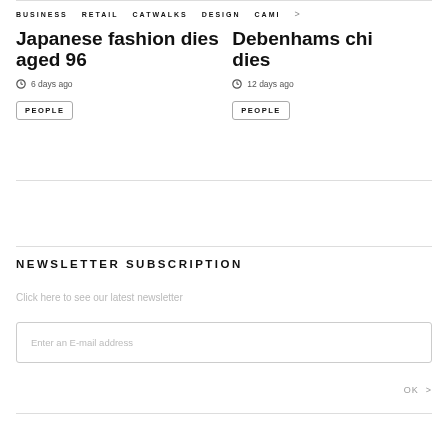BUSINESS   RETAIL   CATWALKS   DESIGN   CAMI   >
Japanese fashion dies aged 96
6 days ago
PEOPLE
Debenhams chi dies
12 days ago
PEOPLE
NEWSLETTER SUBSCRIPTION
Click here to see our latest newsletter
Enter an E-mail address
OK >